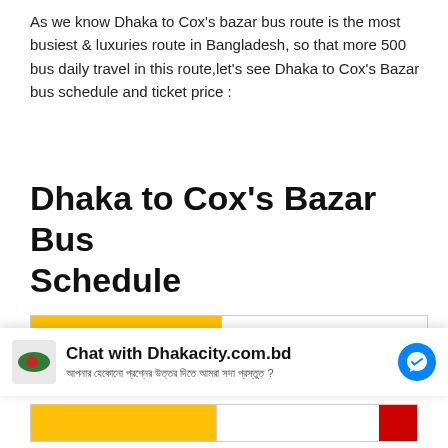As we know Dhaka to Cox's bazar bus route is the most busiest & luxuries route in Bangladesh, so that more 500 bus daily travel in this route,let's see Dhaka to Cox's Bazar bus schedule and ticket price :
Dhaka to Cox's Bazar Bus Schedule
| Operator |  |
| --- | --- |
| Operator | SHYAMOLI NR TRAVELS |
| Departure | 7:00 AM |
| Arrival | 3:30 PM |
| Price | … |